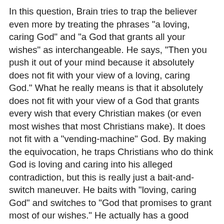In this question, Brain tries to trap the believer even more by treating the phrases "a loving, caring God" and "a God that grants all your wishes" as interchangeable. He says, "Then you push it out of your mind because it absolutely does not fit with your view of a loving, caring God." What he really means is that it absolutely does not fit with your view of a God that grants every wish that every Christian makes (or even most wishes that most Christians make). It does not fit with a "vending-machine" God. By making the equivocation, he traps Christians who do think God is loving and caring into his alleged contradiction, but this is really just a bait-and-switch maneuver. He baits with "loving, caring God" and switches to "God that promises to grant most of our wishes." He actually has a good argument against Christians who already agree with his equivocation and who consider "a loving God" and "a vending-machine God" to be synonymous. I agree with Brain that such Christians have a contradiction in their belief system and need to work it out. I'm not one of them.
And notice also that this is not an argument against the existence of God and in no way disproves God's existence or